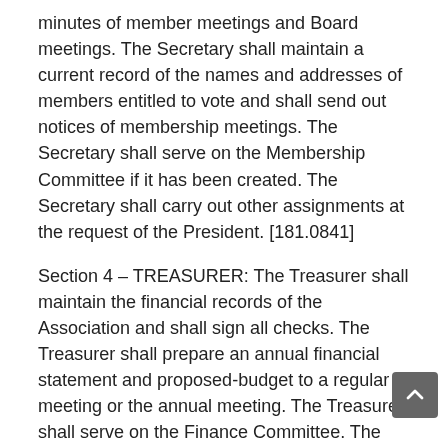minutes of member meetings and Board meetings. The Secretary shall maintain a current record of the names and addresses of members entitled to vote and shall send out notices of membership meetings. The Secretary shall serve on the Membership Committee if it has been created. The Secretary shall carry out other assignments at the request of the President. [181.0841]
Section 4 – TREASURER: The Treasurer shall maintain the financial records of the Association and shall sign all checks. The Treasurer shall prepare an annual financial statement and proposed-budget to a regular meeting or the annual meeting. The Treasurer shall serve on the Finance Committee. The Treasurer shall carry out other assignments at the request of the President. [181.0841]
Article VIII – COMMITTEES (Activated when desired)
Section 1 – MEMBERSHIP COMMITTEE: The